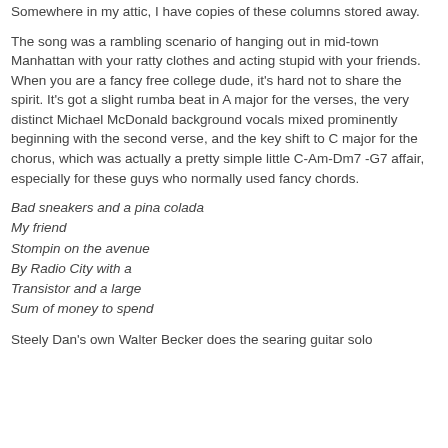Somewhere in my attic, I have copies of these columns stored away.
The song was a rambling scenario of hanging out in mid-town Manhattan with your ratty clothes and acting stupid with your friends. When you are a fancy free college dude, it's hard not to share the spirit. It's got a slight rumba beat in A major for the verses, the very distinct Michael McDonald background vocals mixed prominently beginning with the second verse, and the key shift to C major for the chorus, which was actually a pretty simple little C-Am-Dm7 -G7 affair, especially for these guys who normally used fancy chords.
Bad sneakers and a pina colada
My friend
Stompin on the avenue
By Radio City with a
Transistor and a large
Sum of money to spend
Steely Dan's own Walter Becker does the searing guitar solo